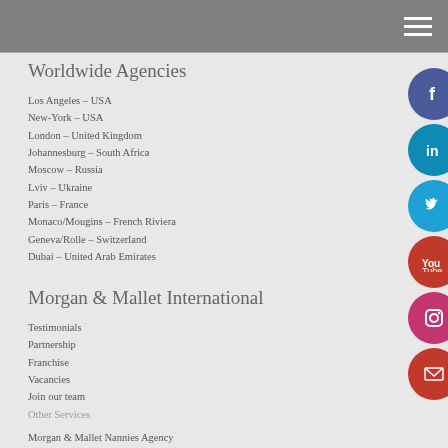Worldwide Agencies
Los Angeles – USA
New-York – USA
London – United Kingdom
Johannesburg – South Africa
Moscow – Russia
Lviv – Ukraine
Paris – France
Monaco/Mougins – French Riviera
Geneva/Rolle – Switzerland
Dubai – United Arab Emirates
Morgan & Mallet International
Testimonials
Partnership
Franchise
Vacancies
Join our team
Other Services
Morgan & Mallet Nannies Agency
Morgan & Mallet Yacht Crew Agency
Morgan & Mallet Domestic Staffing Services